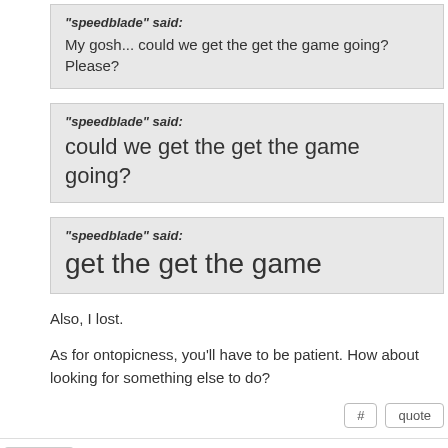"speedblade" said: My gosh... could we get the get the game going? Please?
"speedblade" said: could we get the get the game going?
"speedblade" said: get the get the game
Also, I lost.
As for ontopicness, you'll have to be patient. How about looking for something else to do?
speedblade 11 years ago